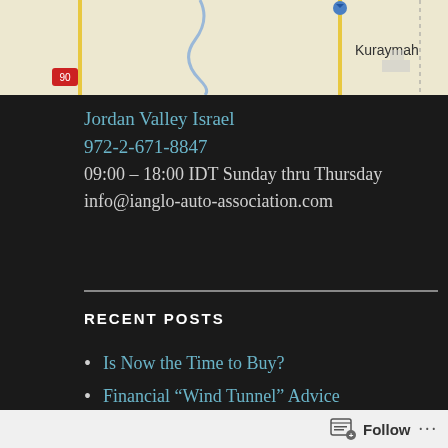[Figure (map): A map showing roads and the location label 'Kuraymah', with route markers and road lines visible.]
Jordan Valley Israel
972-2-671-8847
09:00 - 18:00 IDT Sunday thru Thursday
info@ianglo-auto-association.com
RECENT POSTS
Is Now the Time to Buy?
Financial “Wind Tunnel” Advice
Follow